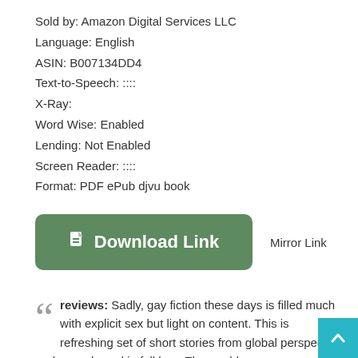Sold by: Amazon Digital Services LLC
Language: English
ASIN: B007134DD4
Text-to-Speech: ::::
X-Ray:
Word Wise: Enabled
Lending: Not Enabled
Screen Reader: ::::
Format: PDF ePub djvu book
[Figure (other): Green download button labeled 'Download Link' with a document icon, and 'Mirror Link' text to the right]
reviews: Sadly, gay fiction these days is filled much with explicit sex but light on content. This is refreshing set of short stories from global perspective and some based in folklore. Thoroughly